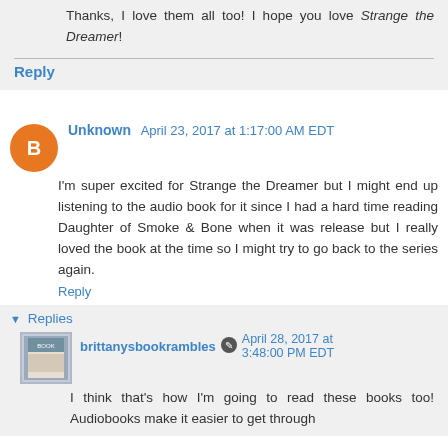Thanks, I love them all too! I hope you love Strange the Dreamer!
Reply
Unknown April 23, 2017 at 1:17:00 AM EDT
I'm super excited for Strange the Dreamer but I might end up listening to the audio book for it since I had a hard time reading Daughter of Smoke & Bone when it was release but I really loved the book at the time so I might try to go back to the series again.
Reply
Replies
brittanysbookrambles April 28, 2017 at 3:48:00 PM EDT
I think that's how I'm going to read these books too! Audiobooks make it easier to get through